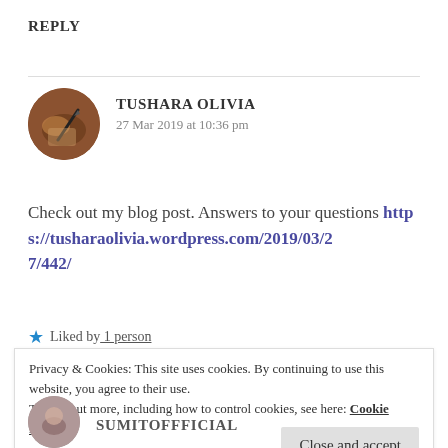REPLY
[Figure (photo): Circular avatar photo of Tushara Olivia, showing a hand writing with a pen on paper, warm brown tones]
TUSHARA OLIVIA
27 Mar 2019 at 10:36 pm
Check out my blog post. Answers to your questions https://tusharaolivia.wordpress.com/2019/03/27/442/
★ Liked by 1 person
Privacy & Cookies: This site uses cookies. By continuing to use this website, you agree to their use.
To find out more, including how to control cookies, see here: Cookie Policy
Close and accept
SUMITOFFFICIAL